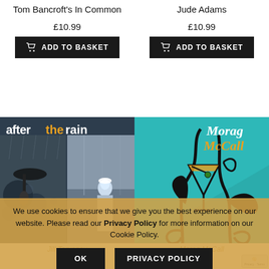Tom Bancroft's In Common
£10.99
ADD TO BASKET
Jude Adams
£10.99
ADD TO BASKET
[Figure (photo): Album cover for 'aftertherain' - dark blue/grey toned image showing people in rain scene with text 'aftertherain' overlaid in white and orange]
[Figure (illustration): Album cover for Morag McCall - teal background with stylized black decorative swirls, a martini glass illustration, and text 'Morag McCall' in white and orange]
Jill Torvaney
£10.99
Morag McCall
£10.99
We use cookies to ensure that we give you the best experience on our website. Please read our Privacy Policy for more information on our Cookie Policy.
OK
PRIVACY POLICY